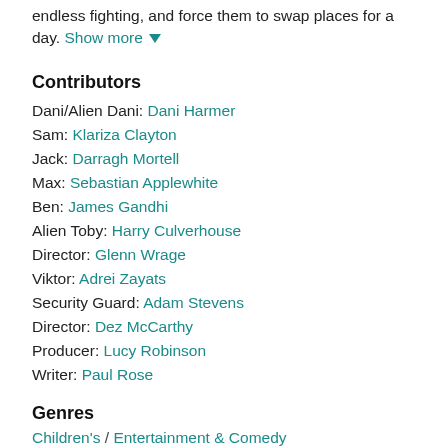endless fighting, and force them to swap places for a day. Show more ▼
Contributors
Dani/Alien Dani: Dani Harmer
Sam: Klariza Clayton
Jack: Darragh Mortell
Max: Sebastian Applewhite
Ben: James Gandhi
Alien Toby: Harry Culverhouse
Director: Glenn Wrage
Viktor: Adrei Zayats
Security Guard: Adam Stevens
Director: Dez McCarthy
Producer: Lucy Robinson
Writer: Paul Rose
Genres
Children's / Entertainment & Comedy